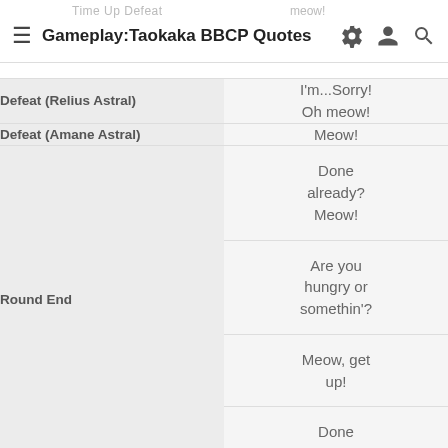Gameplay:Taokaka BBCP Quotes
| Category | Quote |
| --- | --- |
| Defeat (Relius Astral) | I'm...Sorry!
Oh meow! |
| Defeat (Amane Astral) | Meow! |
| Round End | Done already? Meow! |
| Round End | Are you hungry or somethin'? |
| Round End | Meow, get up! |
| Round End | Done |